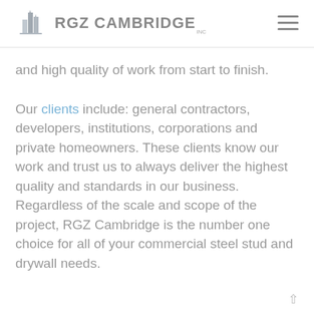RGZ CAMBRIDGE INC
and high quality of work from start to finish.
Our clients include: general contractors, developers, institutions, corporations and private homeowners. These clients know our work and trust us to always deliver the highest quality and standards in our business. Regardless of the scale and scope of the project, RGZ Cambridge is the number one choice for all of your commercial steel stud and drywall needs.